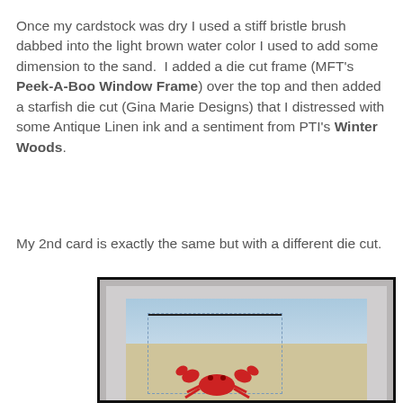Once my cardstock was dry I used a stiff bristle brush dabbed into the light brown water color I used to add some dimension to the sand.  I added a die cut frame (MFT's Peek-A-Boo Window Frame) over the top and then added a starfish die cut (Gina Marie Designs) that I distressed with some Antique Linen ink and a sentiment from PTI's Winter Woods.
My 2nd card is exactly the same but with a different die cut.
[Figure (photo): Photograph of a handmade greeting card featuring a crab die cut on a sandy beach scene, displayed in a black frame with gray mat. The card shows a blue sky, sandy area with texture, and a red crab die cut at the bottom, with a dotted rectangular window frame die cut overlay.]